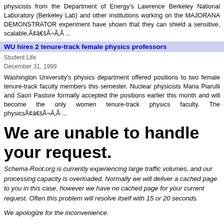physicists from the Department of Energy's Lawrence Berkeley National Laboratory (Berkeley Lab) and other institutions working on the MAJORANA DEMONSTRATOR experiment have shown that they can shield a sensitive, scalable,Ã¢â€šÂ¬Ã‚Â ...
WU hires 2 tenure-track female physics professors
Student Life
December 31, 1999
Washington University's physics department offered positions to two female tenure-track faculty members this semester. Nuclear physicists Maria Piarulli and Saori Pastore formally accepted the positions earlier this month and will become the only women tenure-track physics faculty. The physicsÃ¢â€šÂ¬Ã‚Â ...
We are unable to handle your request.
Schema-Root.org is currently experiencing large traffic volumes, and our processing capacity is overloaded. Normally we will deliver a cached page to you in this case, however we have no cached page for your current request. Often this problem will resolve itself with 15 or 20 seconds.
We apologize for the inconvenience.